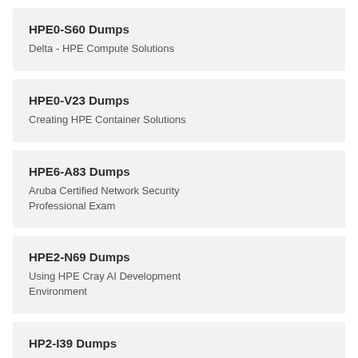HPE0-S60 Dumps
Delta - HPE Compute Solutions
HPE0-V23 Dumps
Creating HPE Container Solutions
HPE6-A83 Dumps
Aruba Certified Network Security Professional Exam
HPE2-N69 Dumps
Using HPE Cray AI Development Environment
HP2-I39 Dumps